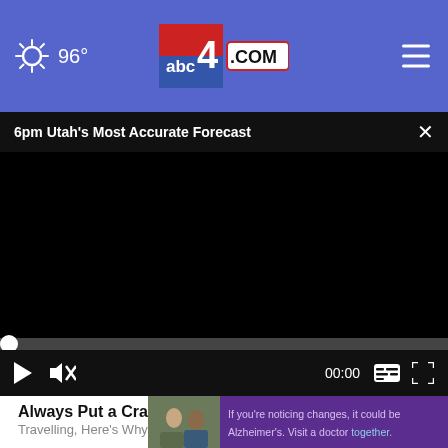96° abc4.com
6pm Utah's Most Accurate Forecast
[Figure (screenshot): Black video player area with media controls: play button, mute button, 00:00 time, captions button, fullscreen button. A video progress scrubber at the bottom.]
Always Put a Crayon in Your Wallet when Travelling, Here's Why
If you're noticing changes, it could be Alzheimer's. Visit a doctor together.